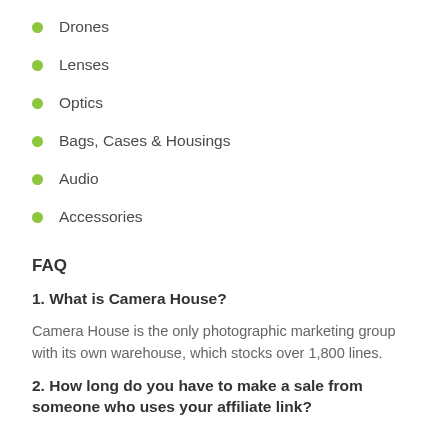Drones
Lenses
Optics
Bags, Cases & Housings
Audio
Accessories
FAQ
1. What is Camera House?
Camera House is the only photographic marketing group with its own warehouse, which stocks over 1,800 lines.
2. How long do you have to make a sale from someone who uses your affiliate link?